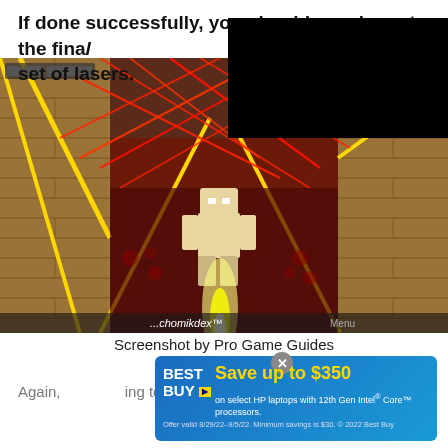If done successfully, you should now be onto the final set of lasers.
[Figure (screenshot): Roblox game screenshot showing a character navigating a laser obstacle course with yellow diagonal paths and red crossing lasers in a brick-walled room. Username 'chomikdex™' visible. Top right portion is blacked out.]
Screenshot by Pro Game Guides
[Figure (screenshot): Best Buy advertisement banner: 'Save up to $350 on select HP laptops with 12th Gen Intel Core processors. Offer valid 8/29/22-9/5/22. Minimum savings is $30. © 2022 Best Buy' with close button.]
Again, ... ing to use a d... of the...